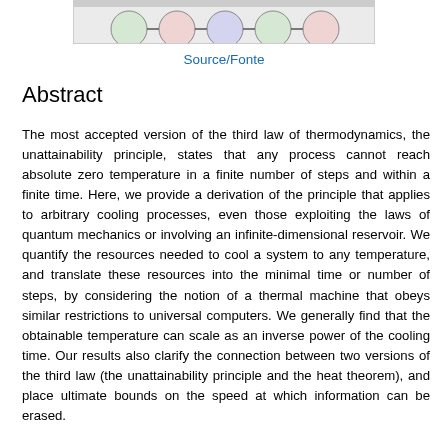[Figure (illustration): Partial view of a figure showing circular nodes or atoms connected in a chain/network diagram, visible at the top of the page (cropped).]
Source/Fonte
Abstract
The most accepted version of the third law of thermodynamics, the unattainability principle, states that any process cannot reach absolute zero temperature in a finite number of steps and within a finite time. Here, we provide a derivation of the principle that applies to arbitrary cooling processes, even those exploiting the laws of quantum mechanics or involving an infinite-dimensional reservoir. We quantify the resources needed to cool a system to any temperature, and translate these resources into the minimal time or number of steps, by considering the notion of a thermal machine that obeys similar restrictions to universal computers. We generally find that the obtainable temperature can scale as an inverse power of the cooling time. Our results also clarify the connection between two versions of the third law (the unattainability principle and the heat theorem), and place ultimate bounds on the speed at which information can be erased.